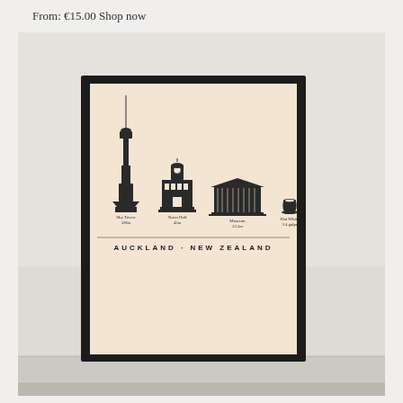From: €15.00 Shop now
[Figure (photo): Photo of a framed poster of Auckland, New Zealand landmarks including Sky Tower (328m), Town Hall (45m), Museum (23.5m), and a Flat White coffee (3-4 gulps), leaning against a wall. The poster has a peach/cream background with dark illustrations and 'AUCKLAND · NEW ZEALAND' text at the bottom.]